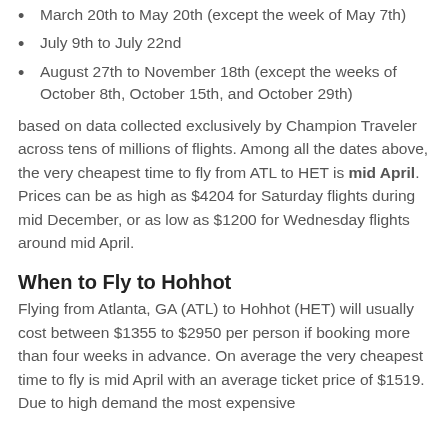March 20th to May 20th (except the week of May 7th)
July 9th to July 22nd
August 27th to November 18th (except the weeks of October 8th, October 15th, and October 29th)
based on data collected exclusively by Champion Traveler across tens of millions of flights. Among all the dates above, the very cheapest time to fly from ATL to HET is mid April. Prices can be as high as $4204 for Saturday flights during mid December, or as low as $1200 for Wednesday flights around mid April.
When to Fly to Hohhot
Flying from Atlanta, GA (ATL) to Hohhot (HET) will usually cost between $1355 to $2950 per person if booking more than four weeks in advance. On average the very cheapest time to fly is mid April with an average ticket price of $1519. Due to high demand the most expensive